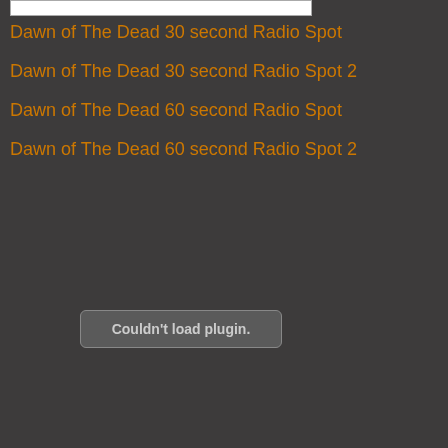[Figure (other): Top image bar, partially visible white rectangle at top of page]
Dawn of The Dead 30 second Radio Spot
Dawn of The Dead 30 second Radio Spot 2
Dawn of The Dead 60 second Radio Spot
Dawn of The Dead 60 second Radio Spot 2
Couldn't load plugin.